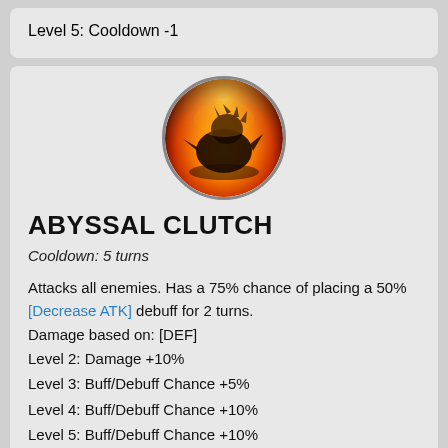Level 5: Cooldown -1
[Figure (illustration): Circular icon showing a dark creature/monster silhouette against a fiery orange and yellow background]
ABYSSAL CLUTCH
Cooldown: 5 turns
Attacks all enemies. Has a 75% chance of placing a 50% [Decrease ATK] debuff for 2 turns. Damage based on: [DEF]
Level 2: Damage +10%
Level 3: Buff/Debuff Chance +5%
Level 4: Buff/Debuff Chance +10%
Level 5: Buff/Debuff Chance +10%
Level 6: Cooldown -1